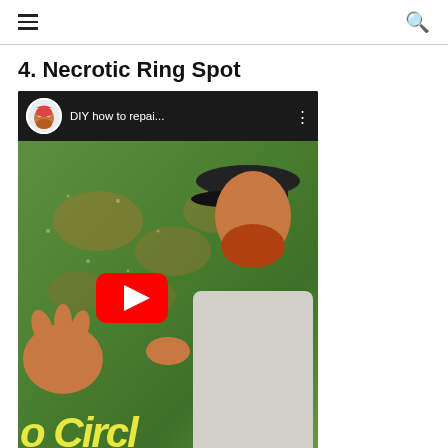☰  🔍
4. Necrotic Ring Spot
[Figure (screenshot): YouTube video thumbnail showing a man with a red beard and black cap standing on a lawn with necrotic ring spots (brown circular patches). Video title reads 'DIY how to repai...' with a YouTube play button overlay and yellow text at the bottom reading 'o Circl']